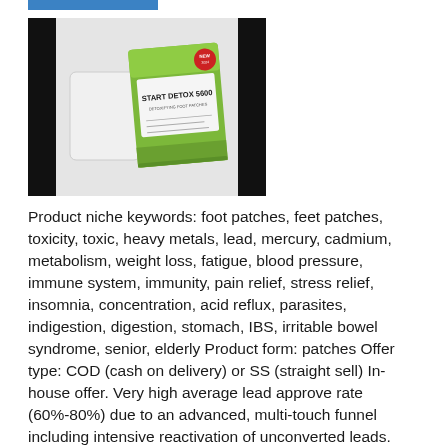[Figure (photo): Product photo of 'Start Detox 5600' foot patch package — white patch and green branded packaging shown against a gray background with black side bars]
Product niche keywords: foot patches, feet patches, toxicity, toxic, heavy metals, lead, mercury, cadmium, metabolism, weight loss, fatigue, blood pressure, immune system, immunity, pain relief, stress relief, insomnia, concentration, acid reflux, parasites, indigestion, digestion, stomach, IBS, irritable bowel syndrome, senior, elderly Product form: patches Offer type: COD (cash on delivery) or SS (straight sell) In-house offer. Very high average lead approve rate (60%-80%) due to an advanced, multi-touch funnel including intensive reactivation of unconverted leads. Optimized long order forms for desktop and mobile traffic.